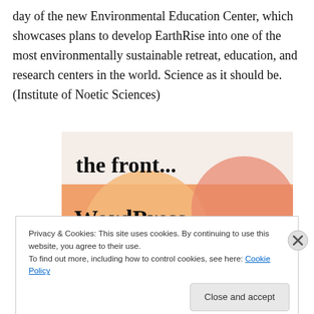day of the new Environmental Education Center, which showcases plans to develop EarthRise into one of the most environmentally sustainable retreat, education, and research centers in the world. Science as it should be. (Institute of Noetic Sciences)
[Figure (screenshot): Advertisement or website screenshot showing 'the front...' in black text on light background, and 'WordPress in the back.' in bold black text on an orange/pink gradient background with round colored shapes.]
Privacy & Cookies: This site uses cookies. By continuing to use this website, you agree to their use.
To find out more, including how to control cookies, see here: Cookie Policy